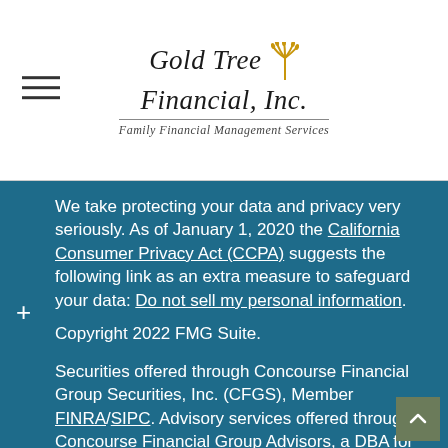[Figure (logo): Gold Tree Financial, Inc. logo with palm tree icon and tagline 'Family Financial Management Services']
We take protecting your data and privacy very seriously. As of January 1, 2020 the California Consumer Privacy Act (CCPA) suggests the following link as an extra measure to safeguard your data: Do not sell my personal information.
Copyright 2022 FMG Suite.
Securities offered through Concourse Financial Group Securities, Inc. (CFGS), Member FINRA/SIPC. Advisory services offered through Concourse Financial Group Advisors, a DBA for CFGS, a Registered Investment Advisor. Gold Tree Financial, Inc. is independent of Concourse Financial Group